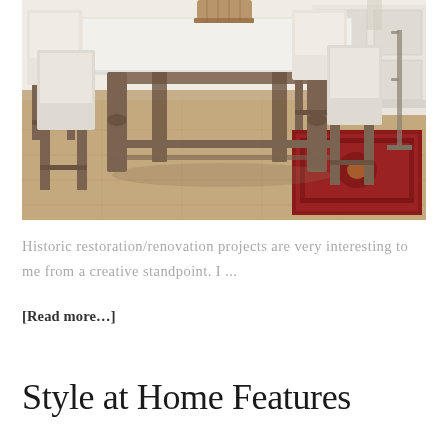[Figure (photo): Interior photo of a dining/kitchen area featuring a rustic wooden table with turned legs and a white top, surrounded by white upholstered bar chairs. Hardwood light-colored floors. A red Persian rug is visible to the right side. White cabinetry with drawers in the background. A woven basket sits on the table.]
Historic restoration/renovation projects are very interesting to me from a creative standpoint. I ...
[Read more...]
Style at Home Features